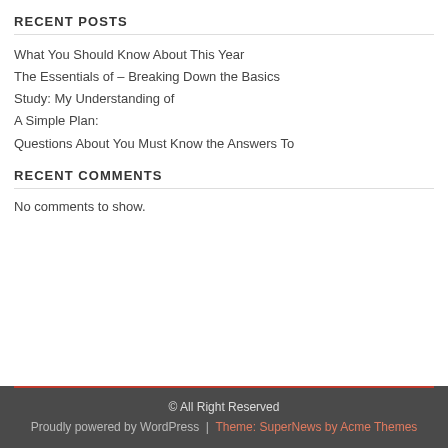RECENT POSTS
What You Should Know About This Year
The Essentials of – Breaking Down the Basics
Study: My Understanding of
A Simple Plan:
Questions About You Must Know the Answers To
RECENT COMMENTS
No comments to show.
© All Right Reserved
Proudly powered by WordPress | Theme: SuperNews by Acme Themes